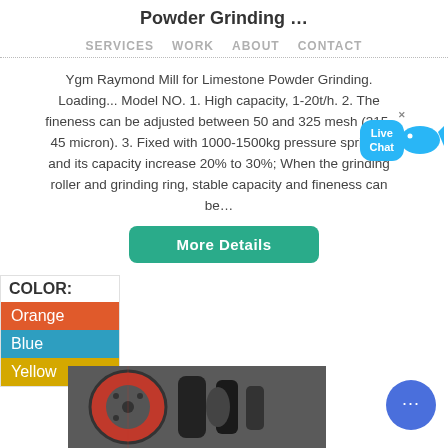Powder Grinding …
SERVICES   WORK   ABOUT   CONTACT
Ygm Raymond Mill for Limestone Powder Grinding. Loading... Model NO. 1. High capacity, 1-20t/h. 2. The fineness can be adjusted between 50 and 325 mesh (315-45 micron). 3. Fixed with 1000-1500kg pressure springs, and its capacity increase 20% to 30%; When the grinding roller and grinding ring, stable capacity and fineness can be…
COLOR:
Orange
Blue
Yellow
[Figure (photo): Close-up photograph of machinery parts including a red wheel/roller and black mechanical components]
[Figure (infographic): Live Chat speech bubble with a stylized fish icon in blue]